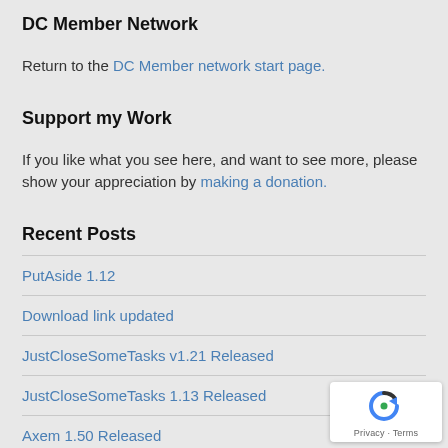DC Member Network
Return to the DC Member network start page.
Support my Work
If you like what you see here, and want to see more, please show your appreciation by making a donation.
Recent Posts
PutAside 1.12
Download link updated
JustCloseSomeTasks v1.21 Released
JustCloseSomeTasks 1.13 Released
Axem 1.50 Released